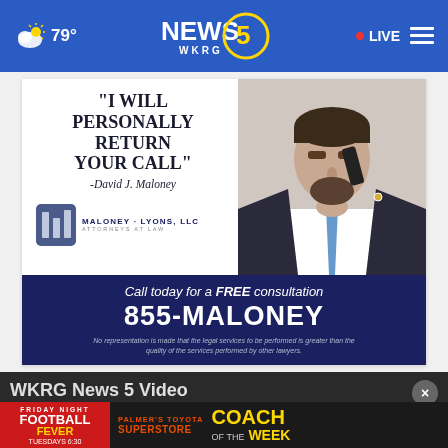79° NEWS 5 WKRG LIVE
[Figure (advertisement): Maloney Lyons LLC law firm advertisement. Quote: 'I WILL PERSONALLY RETURN YOUR CALL' - David J. Maloney. Photo of man on phone. Call today for a FREE consultation 855-MALONEY. Disclaimer text about legal services.]
[Figure (screenshot): WKRG News 5 Video section with close button and Friday Night Football Fever - Palmer's Toyota Superstore Coach of the Week banner, Tuesdays 6:30]